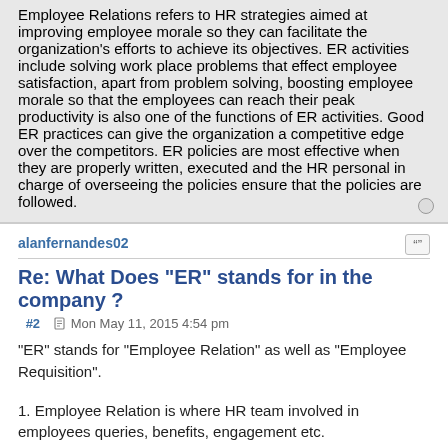Employee Relations refers to HR strategies aimed at improving employee morale so they can facilitate the organization's efforts to achieve its objectives. ER activities include solving work place problems that effect employee satisfaction, apart from problem solving, boosting employee morale so that the employees can reach their peak productivity is also one of the functions of ER activities. Good ER practices can give the organization a competitive edge over the competitors. ER policies are most effective when they are properly written, executed and the HR personal in charge of overseeing the policies ensure that the policies are followed.
alanfernandes02
Re: What Does "ER" stands for in the company ?
#2  Mon May 11, 2015 4:54 pm
"ER" stands for "Employee Relation" as well as "Employee Requisition".
1. Employee Relation is where HR team involved in employees queries, benefits, engagement etc.
2. Employee Requisition is where HR team involve in hiring right candidate as per the requested job description.
Thanks!